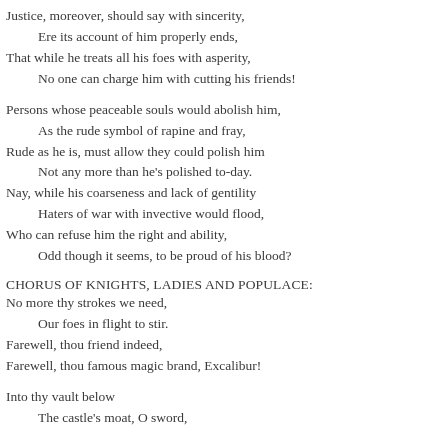Justice, moreover, should say with sincerity,
Ere its account of him properly ends,
That while he treats all his foes with asperity,
No one can charge him with cutting his friends!
Persons whose peaceable souls would abolish him,
As the rude symbol of rapine and fray,
Rude as he is, must allow they could polish him
Not any more than he's polished to-day.
Nay, while his coarseness and lack of gentility
Haters of war with invective would flood,
Who can refuse him the right and ability,
Odd though it seems, to be proud of his blood?
CHORUS OF KNIGHTS, LADIES AND POPULACE:
No more thy strokes we need,
Our foes in flight to stir.
Farewell, thou friend indeed,
Farewell, thou famous magic brand, Excalibur!
Into thy vault below
The castle's moat, O sword,